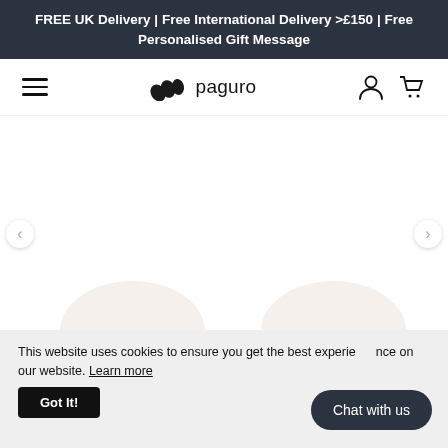FREE UK Delivery | Free International Delivery >£150 | Free Personalised Gift Message
[Figure (screenshot): Paguro website navigation bar with hamburger menu icon on left, Paguro logo with wave icon in center, and account plus cart icons on right]
[Figure (photo): White background content area with two partially visible rounded product items showing golden/amber colored tops, cropped at bottom of page]
This website uses cookies to ensure you get the best experience on our website. Learn more
Got It!
Chat with us